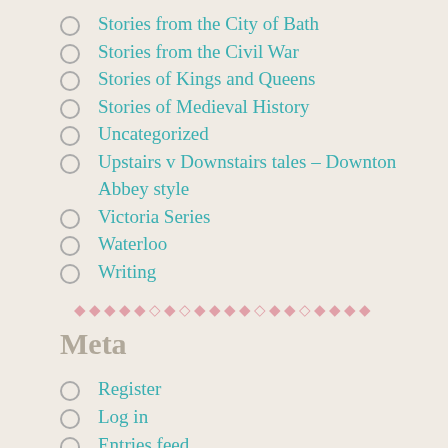Stories from the City of Bath
Stories from the Civil War
Stories of Kings and Queens
Stories of Medieval History
Uncategorized
Upstairs v Downstairs tales – Downton Abbey style
Victoria Series
Waterloo
Writing
◆◆◆◆◆◇◆◇◆◆◆◆◇◆◆◇◆◆◆◆
Meta
Register
Log in
Entries feed
Comments feed
WordPress.com